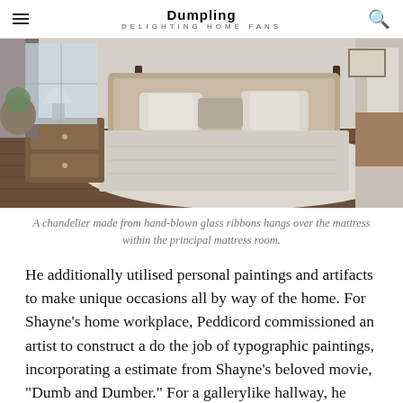Dumpling DELIGHTING HOME FANS
[Figure (photo): Interior bedroom photo showing a bed with an upholstered headboard, white rug on dark hardwood floors, and a wooden dresser beside it.]
A chandelier made from hand-blown glass ribbons hangs over the mattress within the principal mattress room.
He additionally utilised personal paintings and artifacts to make unique occasions all by way of the home. For Shayne’s home workplace, Peddicord commissioned an artist to construct a do the job of typographic paintings, incorporating a estimate from Shayne’s beloved movie, “Dumb and Dumber.” For a gallerylike hallway, he showcased classic cameras inside Plexiglas shadowboxes, a nod to Shayne’s work as the primary engineer at